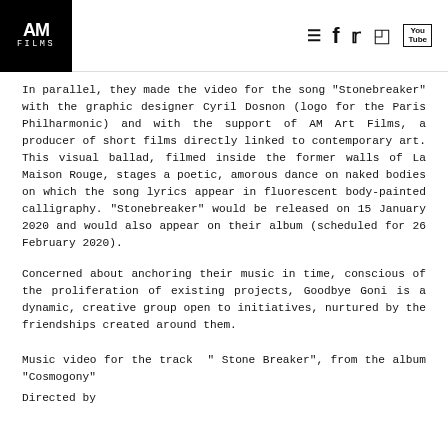AM Art Films logo and navigation icons (hamburger menu, Facebook, Twitter, Instagram, YouTube)
In parallel, they made the video for the song "Stonebreaker" with the graphic designer Cyril Dosnon (logo for the Paris Philharmonic) and with the support of AM Art Films, a producer of short films directly linked to contemporary art. This visual ballad, filmed inside the former walls of La Maison Rouge, stages a poetic, amorous dance on naked bodies on which the song lyrics appear in fluorescent body-painted calligraphy. "Stonebreaker" would be released on 15 January 2020 and would also appear on their album (scheduled for 26 February 2020).
Concerned about anchoring their music in time, conscious of the proliferation of existing projects, Goodbye Goni is a dynamic, creative group open to initiatives, nurtured by the friendships created around them.
Music video for the track " Stone Breaker", from the album "Cosmogony"
Directed by